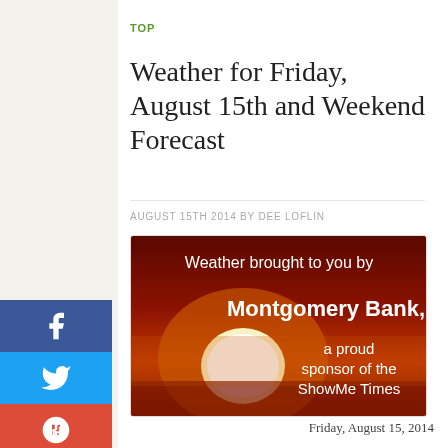TOP
Weather for Friday, August 15th and Weekend Forecast
AUGUST 15TH 2014 BY DEE LOFLIN
[Figure (illustration): Weather advertisement banner with sunset/sun background image in red-orange tones. Text reads: 'Weather brought to you by Montgomery Bank, a proud sponsor of the ShowMe Times']
Friday, August 15, 2014